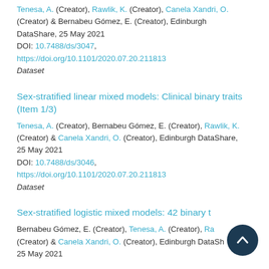Tenesa, A. (Creator), Rawlik, K. (Creator), Canela Xandri, O. (Creator) & Bernabeu Gómez, E. (Creator), Edinburgh DataShare, 25 May 2021
DOI: 10.7488/ds/3047, https://doi.org/10.1101/2020.07.20.211813
Dataset
Sex-stratified linear mixed models: Clinical binary traits (Item 1/3)
Tenesa, A. (Creator), Bernabeu Gómez, E. (Creator), Rawlik, K. (Creator) & Canela Xandri, O. (Creator), Edinburgh DataShare, 25 May 2021
DOI: 10.7488/ds/3046, https://doi.org/10.1101/2020.07.20.211813
Dataset
Sex-stratified logistic mixed models: 42 binary t…
Bernabeu Gómez, E. (Creator), Tenesa, A. (Creator), Ra… (Creator) & Canela Xandri, O. (Creator), Edinburgh DataSh…, 25 May 2021